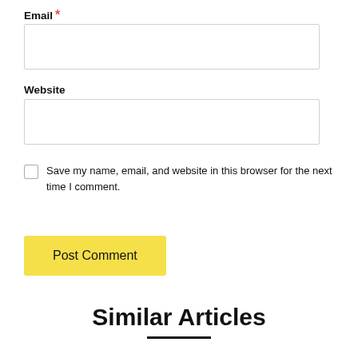Email *
Website
Save my name, email, and website in this browser for the next time I comment.
Post Comment
Similar Articles